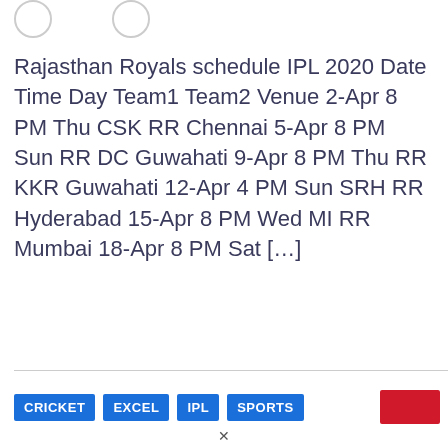Rajasthan Royals schedule IPL 2020 Date Time Day Team1 Team2 Venue 2-Apr 8 PM Thu CSK RR Chennai 5-Apr 8 PM Sun RR DC Guwahati 9-Apr 8 PM Thu RR KKR Guwahati 12-Apr 4 PM Sun SRH RR Hyderabad 15-Apr 8 PM Wed MI RR Mumbai 18-Apr 8 PM Sat [...]
CRICKET
EXCEL
IPL
SPORTS